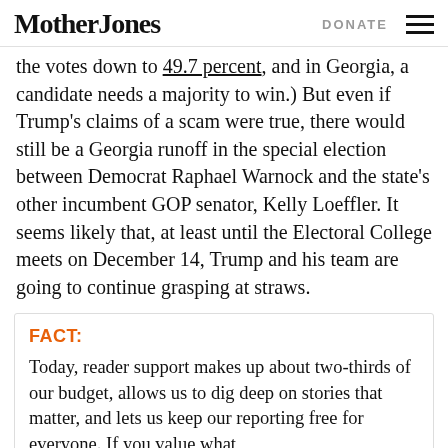Mother Jones | DONATE
the votes down to 49.7 percent, and in Georgia, a candidate needs a majority to win.) But even if Trump's claims of a scam were true, there would still be a Georgia runoff in the special election between Democrat Raphael Warnock and the state's other incumbent GOP senator, Kelly Loeffler. It seems likely that, at least until the Electoral College meets on December 14, Trump and his team are going to continue grasping at straws.
FACT:
Today, reader support makes up about two-thirds of our budget, allows us to dig deep on stories that matter, and lets us keep our reporting free for everyone. If you value what